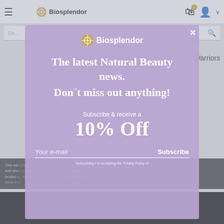Biosplendor
[Figure (screenshot): Website background showing Biosplendor navigation bar with hamburger menu, logo, cart icon with badge showing 0, user icon, search bar, and partially visible page content including 'Warriors' text and cookie consent bar.]
[Figure (screenshot): Modal popup with lavender/purple background showing Biosplendor logo, headline 'The latest Natural Beauty news. Don't miss out anything!', offer 'Subscribe & receive a 10% Off', email input field, Subscribe button, and privacy policy note.]